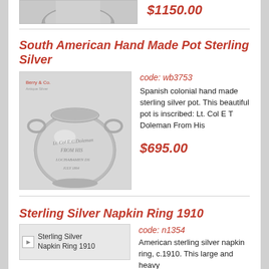[Figure (photo): Partial top image of a silver item, cropped at top of page]
$1150.00
South American Hand Made Pot Sterling Silver
[Figure (photo): Photo of a Spanish colonial hand made sterling silver pot, inscribed Lt. Col E T Doleman From His, with two small handles, round squat shape]
code: wb3753
Spanish colonial hand made sterling silver pot. This beautiful pot is inscribed: Lt. Col E T Doleman From His
$695.00
Sterling Silver Napkin Ring 1910
[Figure (photo): Broken image placeholder for Sterling Silver Napkin Ring 1910]
code: n1354
American sterling silver napkin ring, c.1910. This large and heavy